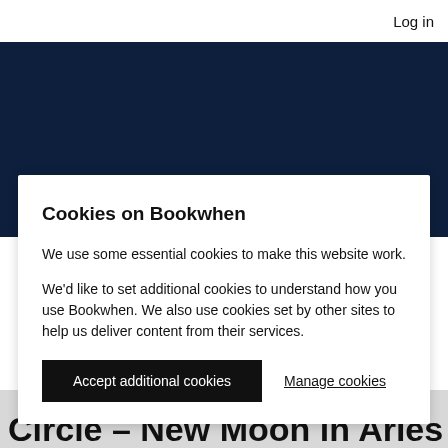Log in
[Figure (other): Dark navy blue banner background area]
Cookies on Bookwhen
We use some essential cookies to make this website work.
We'd like to set additional cookies to understand how you use Bookwhen. We also use cookies set by other sites to help us deliver content from their services.
Accept additional cookies
Manage cookies
Circle - New Moon in Aries